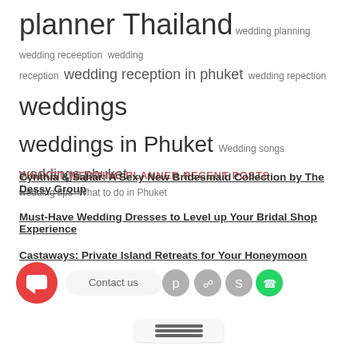planner Thailand  wedding planning  wedding receeption  wedding reception  wedding reception in phuket  wedding repection  weddings  weddings in Phuket  Wedding songs  weddings phuket  wedding tips  What to do in Phuket
PHUKET WEDDING PLANNER RECENT POSTS
Cynthia & Sahar: A Sexy New Bridesmaid Collection by The Dessy Group
Must-Have Wedding Dresses to Level up Your Bridal Shop Experience
Castaways: Private Island Retreats for Your Honeymoon
[Figure (infographic): Contact us bar with red chat button, 'Contact us' label, Pinterest, Instagram, Skype, WhatsApp social icons, and hamburger menu]